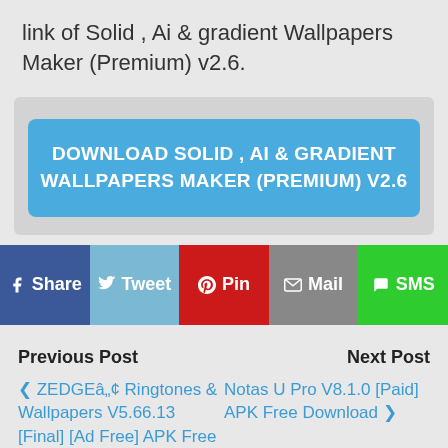link of Solid , Ai & gradient Wallpapers Maker (Premium) v2.6.
[Figure (screenshot): Blue download button reading 'DOWNLOAD SOLID , AI & GRADIENT WALLPAPERS MAKER (PREMIUM) V2.6' on a light gray background box]
[Figure (infographic): Social share bar with 5 buttons: f Share (dark blue/Facebook), Tweet (light blue/Twitter), Pin (red/Pinterest), Mail (gray), SMS (green)]
Previous Post
Next Post
❮ ZEDGEâ„¢ Ringtones & Wallpapers V5.66.13 [Final] [Ad Free] APK Free
Notas U Pro V8.1.0 [Paid] APK Free Download ❯